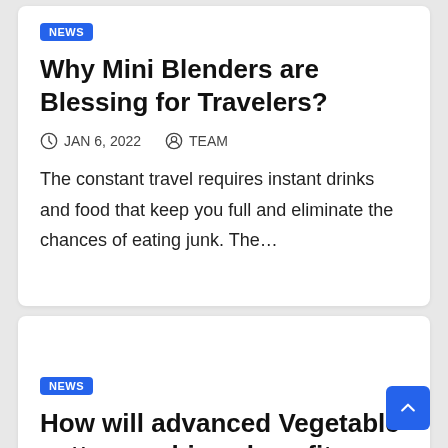NEWS
Why Mini Blenders are Blessing for Travelers?
JAN 6, 2022   TEAM
The constant travel requires instant drinks and food that keep you full and eliminate the chances of eating junk. The…
NEWS
How will advanced Vegetable cutter machines benefit you in